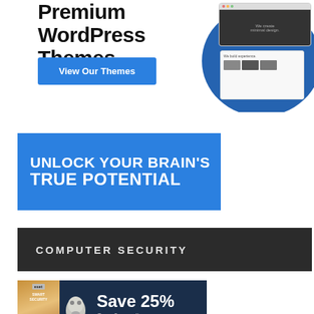[Figure (screenshot): Premium WordPress Themes advertisement with 'View Our Themes' button and website screenshots on blue circular background]
[Figure (infographic): Blue banner ad: 'UNLOCK YOUR BRAIN'S TRUE POTENTIAL']
[Figure (infographic): Dark banner: COMPUTER SECURITY section header]
[Figure (infographic): ESET Smart Security ad: Save 25% On a 2-year license with product box and robot face image]